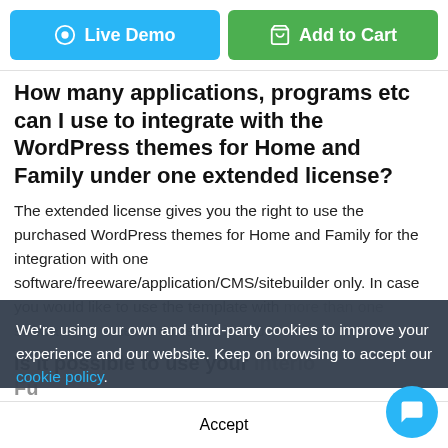[Figure (other): Blue Live Demo button and green Add to Cart button at the top]
How many applications, programs etc can I use to integrate with the WordPress themes for Home and Family under one extended license?
The extended license gives you the right to use the purchased WordPress themes for Home and Family for the integration with one software/freeware/application/CMS/sitebuilder only. In case you would like to use the template with more than one software, an extended license is to be...
Is it possible to use your Interior and Furniture WordPress templates to develop websites for
We're using our own and third-party cookies to improve your experience and our website. Keep on browsing to accept our cookie policy.
Accept